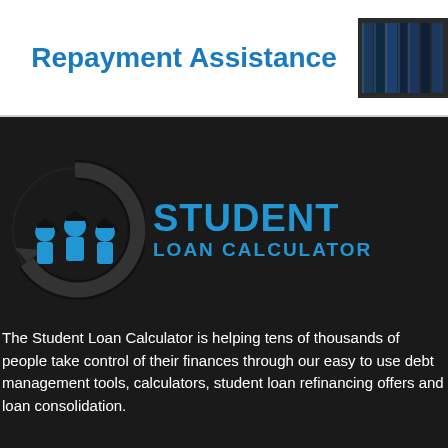Repayment Assistance
[Figure (photo): Photo of law books or dark binders on a shelf, top-right corner of page.]
[Figure (logo): Student Loan Calculator logo: circular arrow icon with graduating students silhouettes in blue on dark background, next to bold blue text reading STUDENT LOAN CALCULATOR]
The Student Loan Calculator is helping tens of thousands of people take control of their finances through our easy to use debt management tools, calculators, student loan refinancing offers and loan consolidation.